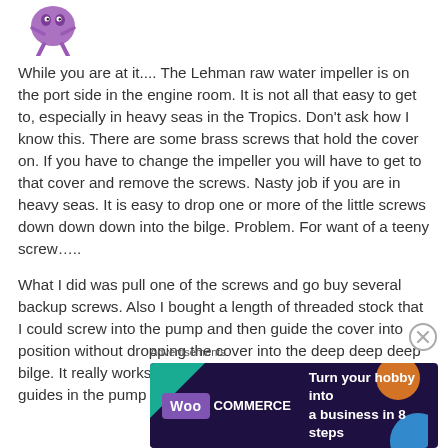[Figure (illustration): Small cartoon character/mascot logo in purple at top left]
While you are at it.... The Lehman raw water impeller is on the port side in the engine room. It is not all that easy to get to, especially in heavy seas in the Tropics. Don't ask how I know this. There are some brass screws that hold the cover on. If you have to change the impeller you will have to get to that cover and remove the screws. Nasty job if you are in heavy seas. It is easy to drop one or more of the little screws down down down into the bilge. Problem. For want of a teeny screw…..
What I did was pull one of the screws and go buy several backup screws. Also I bought a length of threaded stock that I could screw into the pump and then guide the cover into position without dropping the cover into the deep deep deep bilge. It really works good to have at least two of these guides in the pump and then simply slip on the cover and you
Advertisements
[Figure (screenshot): WooCommerce advertisement banner with dark purple background showing WooCommerce logo and text 'Turn your hobby into a business in 8 steps' with colorful geometric shapes]